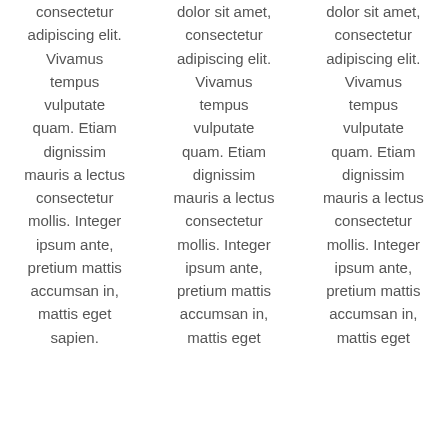consectetur adipiscing elit. Vivamus tempus vulputate quam. Etiam dignissim mauris a lectus consectetur mollis. Integer ipsum ante, pretium mattis accumsan in, mattis eget sapien.
dolor sit amet, consectetur adipiscing elit. Vivamus tempus vulputate quam. Etiam dignissim mauris a lectus consectetur mollis. Integer ipsum ante, pretium mattis accumsan in, mattis eget
dolor sit amet, consectetur adipiscing elit. Vivamus tempus vulputate quam. Etiam dignissim mauris a lectus consectetur mollis. Integer ipsum ante, pretium mattis accumsan in, mattis eget